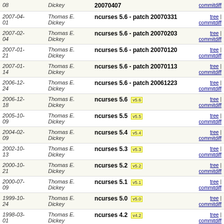| Date | Author | Description | Links |
| --- | --- | --- | --- |
| 08 | Dickey | 20070407 | commitdiff |
| 2007-04-01 | Thomas E. Dickey | ncurses 5.6 - patch 20070331 | tree | commitdiff |
| 2007-02-04 | Thomas E. Dickey | ncurses 5.6 - patch 20070203 | tree | commitdiff |
| 2007-01-21 | Thomas E. Dickey | ncurses 5.6 - patch 20070120 | tree | commitdiff |
| 2007-01-14 | Thomas E. Dickey | ncurses 5.6 - patch 20070113 | tree | commitdiff |
| 2006-12-24 | Thomas E. Dickey | ncurses 5.6 - patch 20061223 | tree | commitdiff |
| 2006-12-18 | Thomas E. Dickey | ncurses 5.6 v5.6 | tree | commitdiff |
| 2005-10-09 | Thomas E. Dickey | ncurses 5.5 v5.5 | tree | commitdiff |
| 2004-02-09 | Thomas E. Dickey | ncurses 5.4 v5.4 | tree | commitdiff |
| 2002-10-13 | Thomas E. Dickey | ncurses 5.3 v5.3 | tree | commitdiff |
| 2000-10-21 | Thomas E. Dickey | ncurses 5.2 v5.2 | tree | commitdiff |
| 2000-07-09 | Thomas E. Dickey | ncurses 5.1 v5.1 | tree | commitdiff |
| 1999-10-24 | Thomas E. Dickey | ncurses 5.0 v5.0 | tree | commitdiff |
| 1998-03-01 | Thomas E. Dickey | ncurses 4.2 v4.2 | tree | commitdiff |